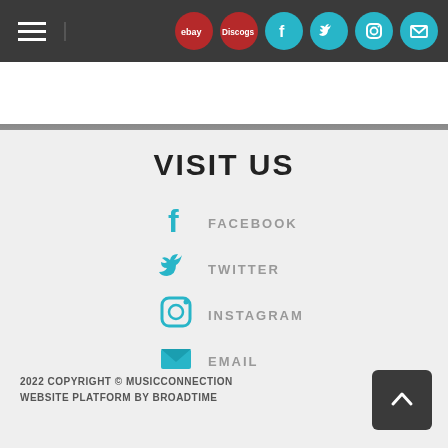[Figure (screenshot): Navigation bar with hamburger menu icon and social media icon circles (ebay red, Discogs red, Facebook teal, Twitter teal, Instagram teal, Email teal)]
[Figure (photo): Partial dark gray photo strip at top of page content area]
VISIT US
FACEBOOK
TWITTER
INSTAGRAM
EMAIL
2022 COPYRIGHT © MUSICCONNECTION
WEBSITE PLATFORM BY BROADTIME